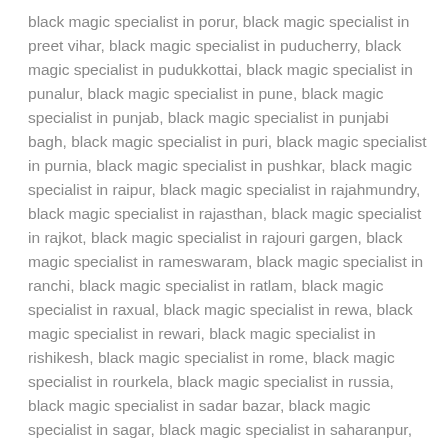black magic specialist in porur, black magic specialist in preet vihar, black magic specialist in puducherry, black magic specialist in pudukkottai, black magic specialist in punalur, black magic specialist in pune, black magic specialist in punjab, black magic specialist in punjabi bagh, black magic specialist in puri, black magic specialist in purnia, black magic specialist in pushkar, black magic specialist in raipur, black magic specialist in rajahmundry, black magic specialist in rajasthan, black magic specialist in rajkot, black magic specialist in rajouri gargen, black magic specialist in rameswaram, black magic specialist in ranchi, black magic specialist in ratlam, black magic specialist in raxual, black magic specialist in rewa, black magic specialist in rewari, black magic specialist in rishikesh, black magic specialist in rome, black magic specialist in rourkela, black magic specialist in russia, black magic specialist in sadar bazar, black magic specialist in sagar, black magic specialist in saharanpur, black magic specialist in salem, black magic specialist in salt lake, black magic specialist in samastipur, black magic specialist in sambalpur, black magic specialist